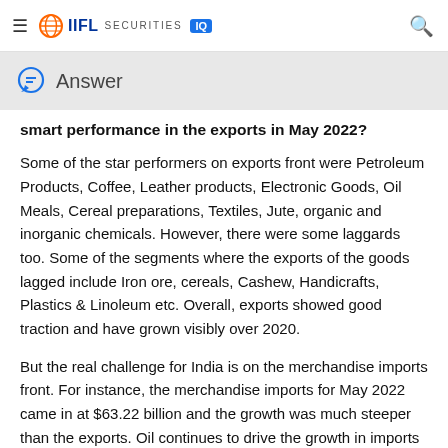IIFL SECURITIES IQ
Answer
smart performance in the exports in May 2022?
Some of the star performers on exports front were Petroleum Products, Coffee, Leather products, Electronic Goods, Oil Meals, Cereal preparations, Textiles, Jute, organic and inorganic chemicals. However, there were some laggards too. Some of the segments where the exports of the goods lagged include Iron ore, cereals, Cashew, Handicrafts, Plastics & Linoleum etc. Overall, exports showed good traction and have grown visibly over 2020.
But the real challenge for India is on the merchandise imports front. For instance, the merchandise imports for May 2022 came in at $63.22 billion and the growth was much steeper than the exports. Oil continues to drive the growth in imports but the growth was also visible in the